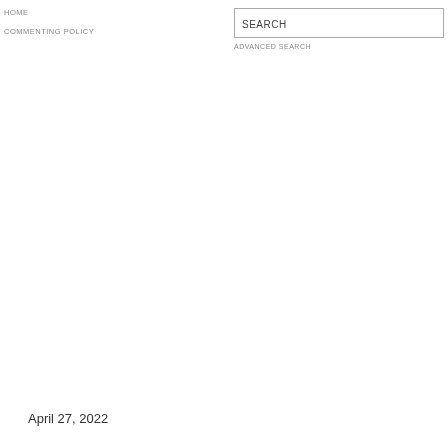HOME
COMMENTING POLICY
SEARCH
ADVANCED SEARCH
April 27, 2022